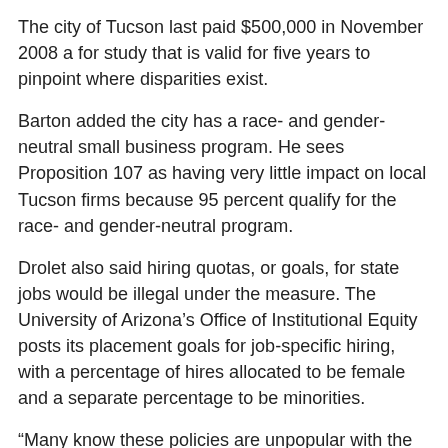The city of Tucson last paid $500,000 in November 2008 a for study that is valid for five years to pinpoint where disparities exist.
Barton added the city has a race- and gender-neutral small business program. He sees Proposition 107 as having very little impact on local Tucson firms because 95 percent qualify for the race- and gender-neutral program.
Drolet also said hiring quotas, or goals, for state jobs would be illegal under the measure. The University of Arizona’s Office of Institutional Equity posts its placement goals for job-specific hiring, with a percentage of hires allocated to be female and a separate percentage to be minorities.
“Many know these policies are unpopular with the public, so they don’t make them easy to find,” Drolet said.
Johnny Cruz, the university’s assistant vice president for communications, said UA isn’t taking an official stance on the proposition but will study the potential “intended and unintended consequences” closely.